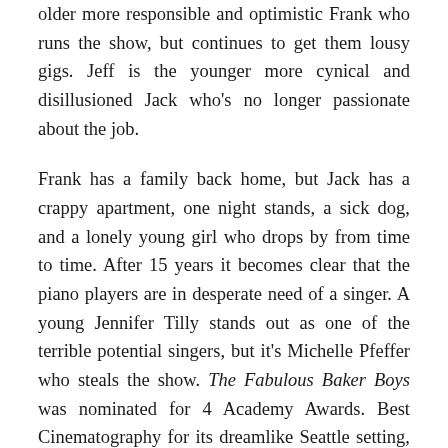older more responsible and optimistic Frank who runs the show, but continues to get them lousy gigs. Jeff is the younger more cynical and disillusioned Jack who's no longer passionate about the job.

Frank has a family back home, but Jack has a crappy apartment, one night stands, a sick dog, and a lonely young girl who drops by from time to time. After 15 years it becomes clear that the piano players are in desperate need of a singer. A young Jennifer Tilly stands out as one of the terrible potential singers, but it's Michelle Pfeffer who steals the show. The Fabulous Baker Boys was nominated for 4 Academy Awards. Best Cinematography for its dreamlike Seattle setting, Film Editing for